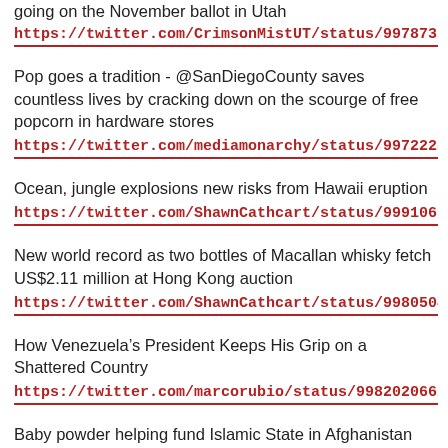going on the November ballot in Utah
https://twitter.com/CrimsonMistUT/status/99787322
Pop goes a tradition - @SanDiegoCounty saves countless lives by cracking down on the scourge of free popcorn in hardware stores
https://twitter.com/mediamonarchy/status/99722285
Ocean, jungle explosions new risks from Hawaii eruption
https://twitter.com/ShawnCathcart/status/99910618
New world record as two bottles of Macallan whisky fetch US$2.11 million at Hong Kong auction
https://twitter.com/ShawnCathcart/status/99805049
How Venezuela’s President Keeps His Grip on a Shattered Country
https://twitter.com/marcorubio/status/99820206621
Baby powder helping fund Islamic State in Afghanistan